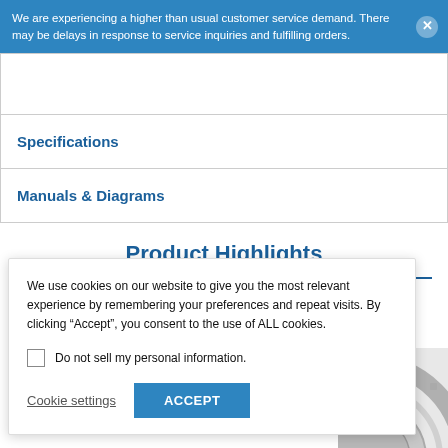We are experiencing a higher than usual customer service demand. There may be delays in response to service inquiries and fulfilling orders.
Specifications
Manuals & Diagrams
Product Highlights
We use cookies on our website to give you the most relevant experience by remembering your preferences and repeat visits. By clicking “Accept”, you consent to the use of ALL cookies.
Do not sell my personal information.
Cookie settings
ACCEPT
[Figure (photo): Partial view of a circular mechanical product (bearing or gauge), metallic silver/grey in color, visible at the bottom-right of the page.]